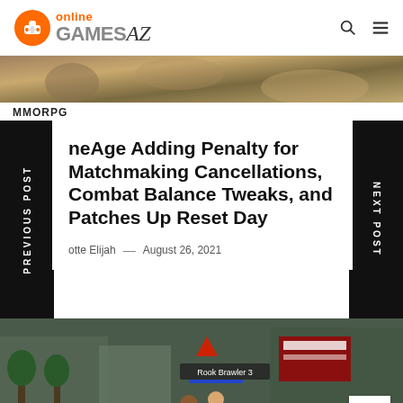Online GAMES AZ
[Figure (photo): Cropped top portion of a painterly or illustrated image]
MMORPG
neAge Adding Penalty for Matchmaking Cancellations, Combat Balance Tweaks, and Patches Up Reset Day
otte Elijah  —  August 26, 2021
[Figure (screenshot): In-game screenshot showing two characters fighting on a cobblestone street with 'Rook Brawler 3' label visible]
PREVIOUS POST
NEXT POST